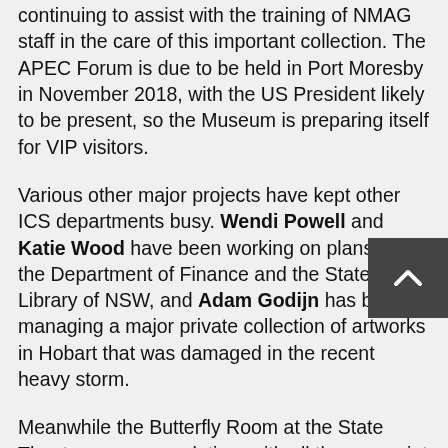continuing to assist with the training of NMAG staff in the care of this important collection. The APEC Forum is due to be held in Port Moresby in November 2018, with the US President likely to be present, so the Museum is preparing itself for VIP visitors.
Various other major projects have kept other ICS departments busy. Wendi Powell and Katie Wood have been working on plans for the Department of Finance and the State Library of NSW, and Adam Godijn has been managing a major private collection of artworks in Hobart that was damaged in the recent heavy storm.
Meanwhile the Butterfly Room at the State Theatre nears completion, with all the overpaint now stripped and the detailed task of inpainting well underway. A rolling crew of Arek Werstak, Matteo Volonte, Amy Jackson, Christian Eden, Rob Williams and Annick Vuissoz have been working there